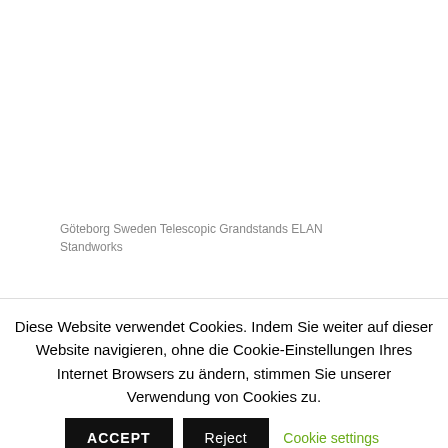Göteborg Sweden Telescopic Grandstands ELAN Standworks
Diese Website verwendet Cookies. Indem Sie weiter auf dieser Website navigieren, ohne die Cookie-Einstellungen Ihres Internet Browsers zu ändern, stimmen Sie unserer Verwendung von Cookies zu.
ACCEPT
Reject
Cookie settings
ACCEPT